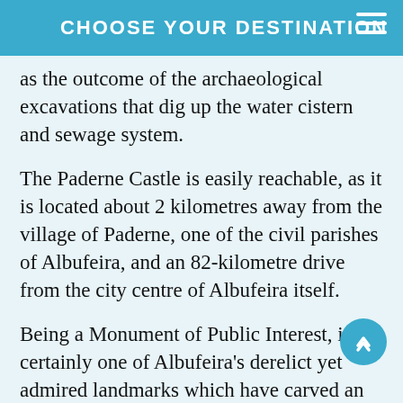CHOOSE YOUR DESTINATION
as the outcome of the archaeological excavations that dig up the water cistern and sewage system.
The Paderne Castle is easily reachable, as it is located about 2 kilometres away from the village of Paderne, one of the civil parishes of Albufeira, and an 82-kilometre drive from the city centre of Albufeira itself.
Being a Monument of Public Interest, it is certainly one of Albufeira’s derelict yet admired landmarks which have carved an important part of Albufeira’s history in the collective memory of all inhabitants.